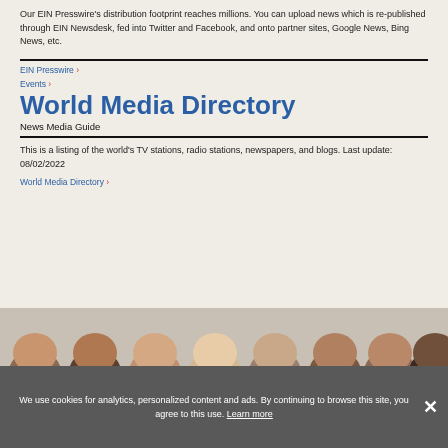Our EIN Presswire's distribution footprint reaches millions. You can upload news which is re-published through EIN Newsdesk, fed into Twitter and Facebook, and onto partner sites, Google News, Bing News, etc.
EIN Presswire >
Events >
World Media Directory
News Media Guide
This is a listing of the world's TV stations, radio stations, newspapers, and blogs. Last update: 08/02/2022
World Media Directory >
[Figure (photo): Row of people's heads/faces cropped at forehead level, showing diverse group]
We use cookies for analytics, personalized content and ads. By continuing to browse this site, you agree to this use. Learn more